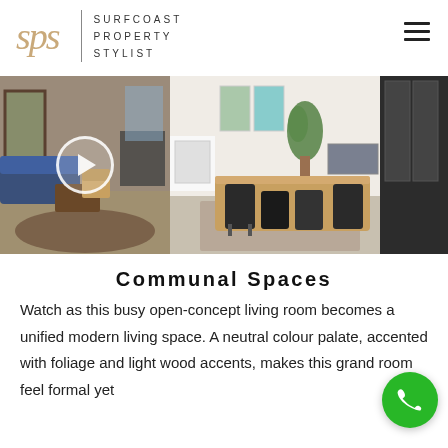[Figure (logo): SPS Surfcoast Property Stylist logo with italic serif sps letters in gold/tan color, vertical divider line, and spaced-out text SURFCOAST PROPERTY STYLIST]
[Figure (photo): Two side-by-side interior photos. Left: a living room before staging with blue sofa, wooden furniture, polished concrete floors, and a circular play button overlay. Right: an after photo showing a modern open-plan dining and living space with a wooden table, modern chairs, plants, and polished floors.]
Communal Spaces
Watch as this busy open-concept living room becomes a unified modern living space. A neutral colour palate, accented with foliage and light wood accents, makes this grand room feel formal yet